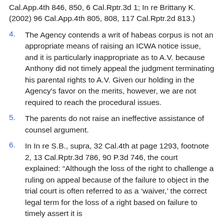Cal.App.4th 846, 850, 6 Cal.Rptr.3d 1; In re Brittany K. (2002) 96 Cal.App.4th 805, 808, 117 Cal.Rptr.2d 813.)
4.	The Agency contends a writ of habeas corpus is not an appropriate means of raising an ICWA notice issue, and it is particularly inappropriate as to A.V. because Anthony did not timely appeal the judgment terminating his parental rights to A.V. Given our holding in the Agency's favor on the merits, however, we are not required to reach the procedural issues.
5.	The parents do not raise an ineffective assistance of counsel argument.
6.	In In re S.B., supra, 32 Cal.4th at page 1293, footnote 2, 13 Cal.Rptr.3d 786, 90 P.3d 746, the court explained: “Although the loss of the right to challenge a ruling on appeal because of the failure to object in the trial court is often referred to as a ‘waiver,’ the correct legal term for the loss of a right based on failure to timely assert it is